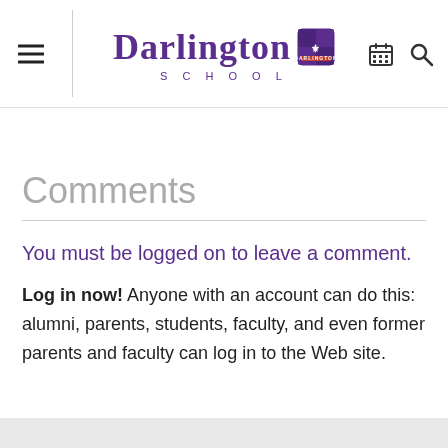Darlington School
Dingier of Cedartown, Georgia.
Comments
You must be logged on to leave a comment.
Log in now! Anyone with an account can do this: alumni, parents, students, faculty, and even former parents and faculty can log in to the Web site.